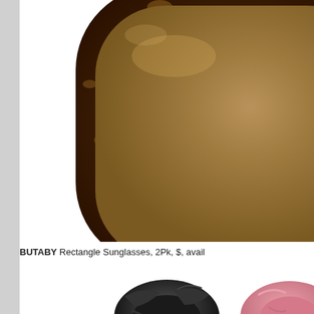[Figure (photo): Close-up photo of a tortoiseshell rectangle sunglasses lens with brown tinted glass and dark brown mottled frame, cropped to show upper-right portion of the frame and lens.]
BUTABY Rectangle Sunglasses, 2Pk, $, avail
[Figure (photo): Photo of two hair scrunchies — a black velvet scrunchie on the left and a pink velvet scrunchie partially visible on the right, shown at the bottom of the page.]